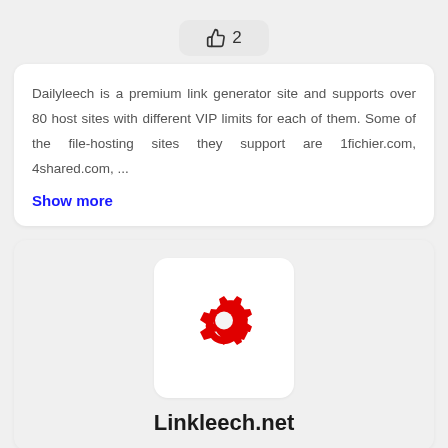[Figure (other): Thumbs up icon with number 2, styled as a like button]
Dailyleech is a premium link generator site and supports over 80 host sites with different VIP limits for each of them. Some of the file-hosting sites they support are 1fichier.com, 4shared.com, ...
Show more
[Figure (logo): Red gear/settings icon on white rounded card]
Linkleech.net